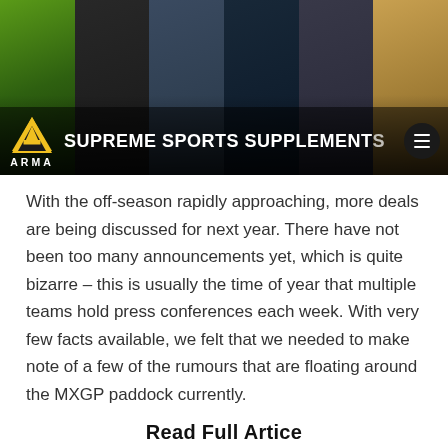[Figure (photo): Banner image showing a collage of sports athletes wearing ARMA branded apparel, including motocross rider, cyclists, and runners. Overlay shows ARMA logo and tagline 'SUPREME SPORTS SUPPLEMENTS' with hamburger menu icon.]
With the off-season rapidly approaching, more deals are being discussed for next year. There have not been too many announcements yet, which is quite bizarre – this is usually the time of year that multiple teams hold press conferences each week. With very few facts available, we felt that we needed to make note of a few of the rumours that are floating around the MXGP paddock currently.
Read Full Article